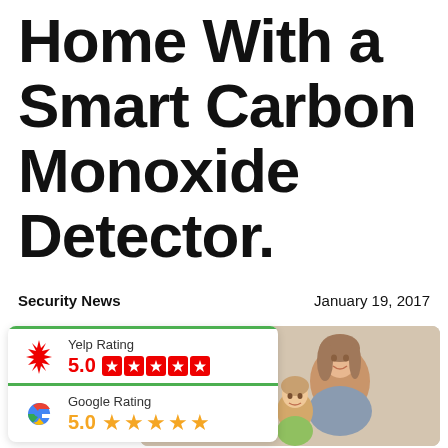Home With a Smart Carbon Monoxide Detector.
Security News    January 19, 2017
[Figure (infographic): Ratings card showing Yelp Rating 5.0 (five red star boxes) and Google Rating 5.0 (five orange stars), overlaid on a photo of a woman and child smiling with a smoke/CO detector in background]